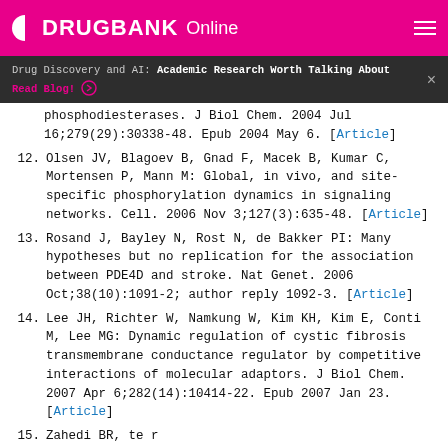DRUGBANK Online
Drug Discovery and AI: Academic Research Worth Talking About Read Blog!
phosphodiesterases. J Biol Chem. 2004 Jul 16;279(29):30338-48. Epub 2004 May 6. [Article]
12. Olsen JV, Blagoev B, Gnad F, Macek B, Kumar C, Mortensen P, Mann M: Global, in vivo, and site-specific phosphorylation dynamics in signaling networks. Cell. 2006 Nov 3;127(3):635-48. [Article]
13. Rosand J, Bayley N, Rost N, de Bakker PI: Many hypotheses but no replication for the association between PDE4D and stroke. Nat Genet. 2006 Oct;38(10):1091-2; author reply 1092-3. [Article]
14. Lee JH, Richter W, Namkung W, Kim KH, Kim E, Conti M, Lee MG: Dynamic regulation of cystic fibrosis transmembrane conductance regulator by competitive interactions of molecular adaptors. J Biol Chem. 2007 Apr 6;282(14):10414-22. Epub 2007 Jan 23. [Article]
15. (partial)